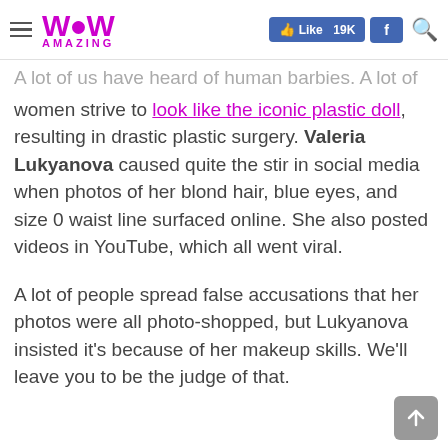WoW Amazing | Like 19K | f | search
A lot of us have heard of human barbies. A lot of women strive to look like the iconic plastic doll, resulting in drastic plastic surgery. Valeria Lukyanova caused quite the stir in social media when photos of her blond hair, blue eyes, and size 0 waist line surfaced online. She also posted videos in YouTube, which all went viral.
A lot of people spread false accusations that her photos were all photo-shopped, but Lukyanova insisted it's because of her makeup skills. We'll leave you to be the judge of that.